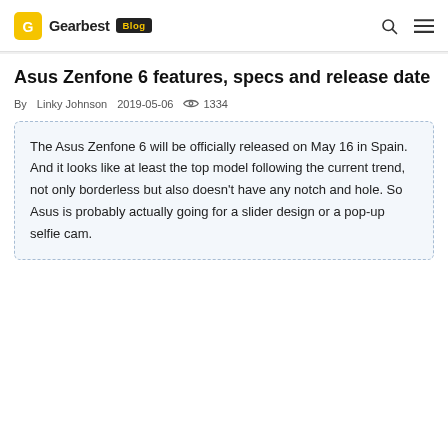Gearbest Blog
Asus Zenfone 6 features, specs and release date
By Linky Johnson  2019-05-06  1334
The Asus Zenfone 6 will be officially released on May 16 in Spain. And it looks like at least the top model following the current trend, not only borderless but also doesn't have any notch and hole. So Asus is probably actually going for a slider design or a pop-up selfie cam.